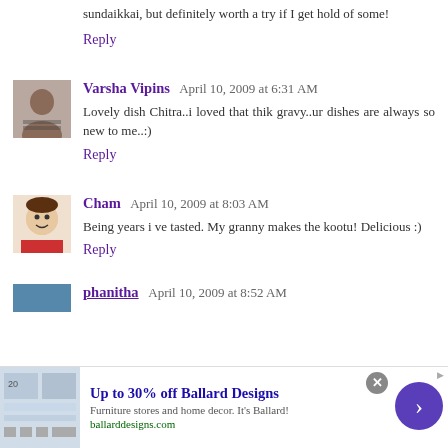sundaikkai, but definitely worth a try if I get hold of some!
Reply
Varsha Vipins April 10, 2009 at 6:31 AM
Lovely dish Chitra..i loved that thik gravy..ur dishes are always so new to me..:)
Reply
Cham April 10, 2009 at 8:03 AM
Being years i ve tasted. My granny makes the kootu! Delicious :)
Reply
phanitha April 10, 2009 at 8:52 AM
[Figure (infographic): Advertisement banner: Up to 30% off Ballard Designs. Furniture stores and home decor. ballarddesigns.com with arrow button and close button.]